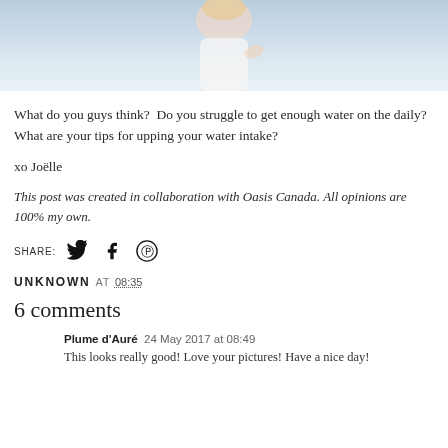[Figure (photo): Top portion of a photo showing a woman in a white dress near water, light blue/white background]
What do you guys think?  Do you struggle to get enough water on the daily?  What are your tips for upping your water intake?
xo Joëlle
This post was created in collaboration with Oasis Canada. All opinions are 100% my own.
SHARE: [twitter] [facebook] [pinterest]
UNKNOWN AT 08:35
6 comments
Plume d'Auré  24 May 2017 at 08:49
This looks really good! Love your pictures! Have a nice day!